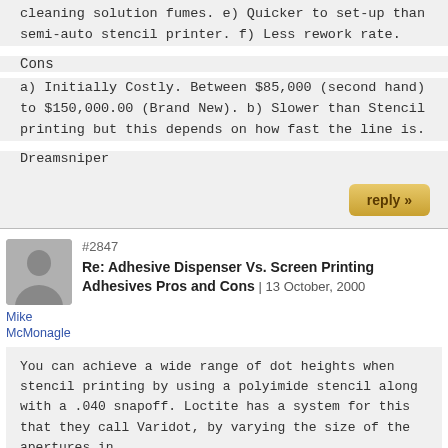cleaning solution fumes. e) Quicker to set-up than semi-auto stencil printer. f) Less rework rate.
Cons
a) Initially Costly. Between $85,000 (second hand) to $150,000.00 (Brand New). b) Slower than Stencil printing but this depends on how fast the line is.
Dreamsniper
#2847
Re: Adhesive Dispenser Vs. Screen Printing Adhesives Pros and Cons | 13 October, 2000
You can achieve a wide range of dot heights when stencil printing by using a polyimide stencil along with a .040 snapoff. Loctite has a system for this that they call Varidot, by varying the size of the apertures in